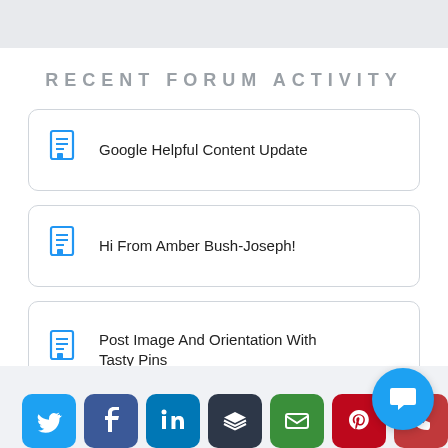RECENT FORUM ACTIVITY
Google Helpful Content Update
Hi From Amber Bush-Joseph!
Post Image And Orientation With Tasty Pins
[Figure (infographic): Social sharing buttons: Twitter, Facebook, LinkedIn, Buffer, Email, Pinterest, Phone; plus a chat bubble icon]